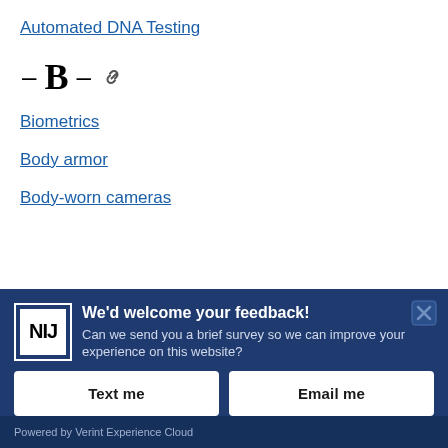Automated DNA Testing
– B – 🔗
Biometrics
Body armor
Body-worn cameras
[Figure (screenshot): NIJ feedback survey banner with logo, heading 'We'd welcome your feedback!', subtext about sending a brief survey, and two buttons: 'Text me' and 'Email me'. Close button in top-right corner.]
Powered by Verint Experience Cloud